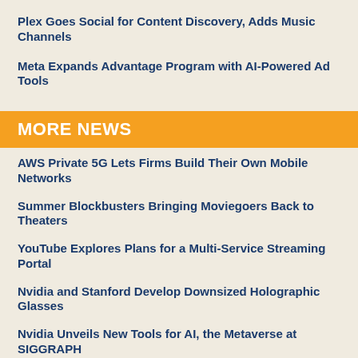Plex Goes Social for Content Discovery, Adds Music Channels
Meta Expands Advantage Program with AI-Powered Ad Tools
MORE NEWS
AWS Private 5G Lets Firms Build Their Own Mobile Networks
Summer Blockbusters Bringing Moviegoers Back to Theaters
YouTube Explores Plans for a Multi-Service Streaming Portal
Nvidia and Stanford Develop Downsized Holographic Glasses
Nvidia Unveils New Tools for AI, the Metaverse at SIGGRAPH
Apple Pursues Podcasts as Subjects for Streaming TV Series
Pew: YouTube Most Popular with Teens, Followed by TikTok
Beyond $74B in Theme Parks, Parade Profit Comes for Disney